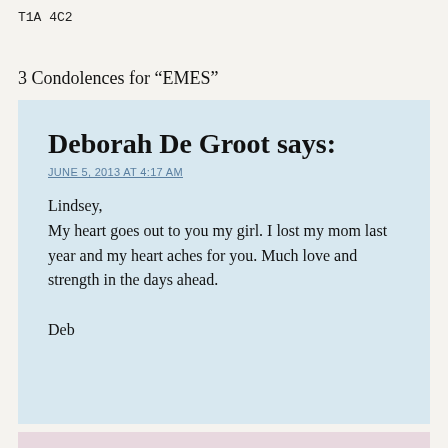T1A 4C2
3 Condolences for “EMES”
Deborah De Groot says:
JUNE 5, 2013 AT 4:17 AM
Lindsey,
My heart goes out to you my girl. I lost my mom last year and my heart aches for you. Much love and strength in the days ahead.
Deb
Wayne and Grace Buss says:
JUNE 7, 2013 AT 3:44 AM